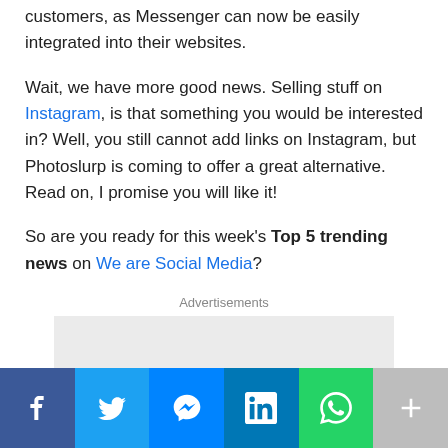customers, as Messenger can now be easily integrated into their websites.
Wait, we have more good news. Selling stuff on Instagram, is that something you would be interested in? Well, you still cannot add links on Instagram, but Photoslurp is coming to offer a great alternative. Read on, I promise you will like it!
So are you ready for this week's Top 5 trending news on We are Social Media?
Advertisements
[Figure (other): Grey advertisement placeholder box]
[Figure (other): Social media share bar with Facebook, Twitter, Messenger, LinkedIn, WhatsApp, and More buttons]